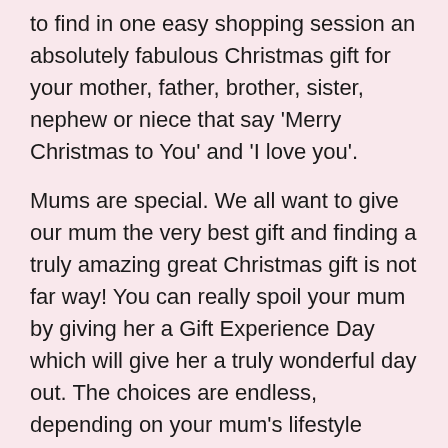to find in one easy shopping session an absolutely fabulous Christmas gift for your mother, father, brother, sister, nephew or niece that say 'Merry Christmas to You' and 'I love you'.
Mums are special. We all want to give our mum the very best gift and finding a truly amazing great Christmas gift is not far way! You can really spoil your mum by giving her a Gift Experience Day which will give her a truly wonderful day out. The choices are endless, depending on your mum's lifestyle choices; you can pamper her on a Marriott Deluxe Pamper Day, or for the more adventurous mum, a Bungee Jump at the 02 Arena.
Let's not forget our dads. If your dad is the laid back chilled kind of guy, then perhaps a Vineyard Tour might be the perfect choice. Not only will he learn how